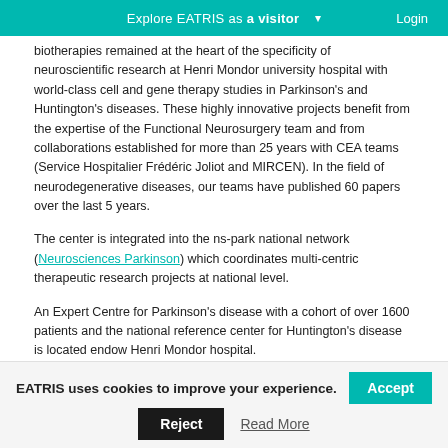Explore EATRIS as a visitor ▾ Login
biotherapies remained at the heart of the specificity of neuroscientific research at Henri Mondor university hospital with world-class cell and gene therapy studies in Parkinson's and Huntington's diseases. These highly innovative projects benefit from the expertise of the Functional Neurosurgery team and from collaborations established for more than 25 years with CEA teams (Service Hospitalier Frédéric Joliot and MIRCEN). In the field of neurodegenerative diseases, our teams have published 60 papers over the last 5 years.
The center is integrated into the ns-park national network (Neurosciences Parkinson) which coordinates multi-centric therapeutic research projects at national level.
An Expert Centre for Parkinson's disease with a cohort of over 1600 patients and the national reference center for Huntington's disease is located endow Henri Mondor hospital.
Several Inserm research teams, grouped in the IMRB are working on neurological and psychiatric diseases.
EATRIS uses cookies to improve your experience.
Accept
Reject
Read More